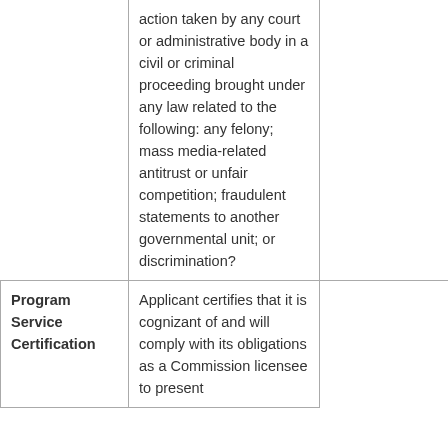|  | action taken by any court or administrative body in a civil or criminal proceeding brought under any law related to the following: any felony; mass media-related antitrust or unfair competition; fraudulent statements to another governmental unit; or discrimination? |  |
| Program Service Certification | Applicant certifies that it is cognizant of and will comply with its obligations as a Commission licensee to present |  |